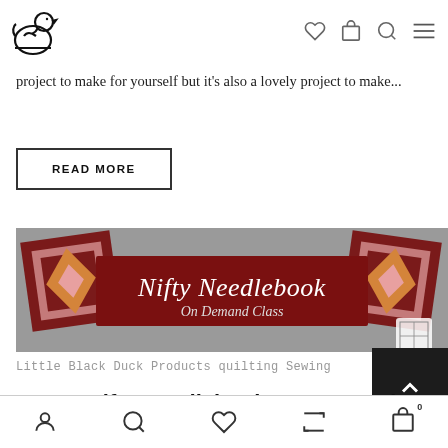Little Black Duck logo and navigation icons
project to make for yourself but it's also a lovely project to make...
READ MORE
[Figure (photo): Nifty Needlebook On Demand Class promotional banner showing quilted needlebooks with geometric patterns in dark red, pink and gold, with script text overlay reading 'Nifty Needlebook On Demand Class']
Little Black Duck Products quilting Sewing
NEW : Nifty Needlebook On Demand